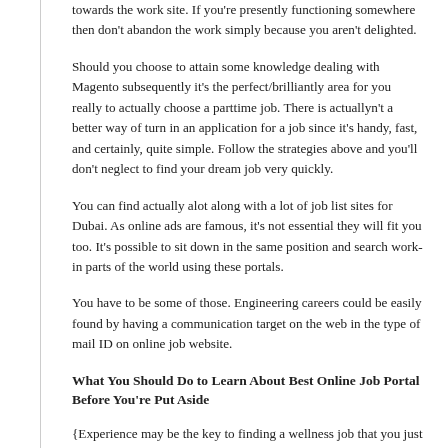towards the work site. If you're presently functioning somewhere then don't abandon the work simply because you aren't delighted.
Should you choose to attain some knowledge dealing with Magento subsequently it's the perfect/brilliantly area for you really to actually choose a parttime job. There is actuallyn't a better way of turn in an application for a job since it's handy, fast, and certainly, quite simple. Follow the strategies above and you'll don't neglect to find your dream job very quickly.
You can find actually alot along with a lot of job list sites for Dubai. As online ads are famous, it's not essential they will fit you too. It's possible to sit down in the same position and search work-in parts of the world using these portals.
You have to be some of those. Engineering careers could be easily found by having a communication target on the web in the type of mail ID on online job website.
What You Should Do to Learn About Best Online Job Portal Before You're Put Aside
{Experience may be the key to finding a wellness job that you just dream about. The best solution to